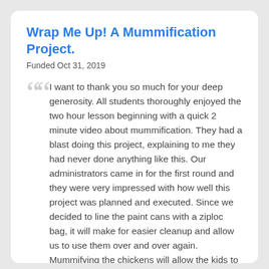Wrap Me Up! A Mummification Project.
Funded Oct 31, 2019
I want to thank you so much for your deep generosity. All students thoroughly enjoyed the two hour lesson beginning with a quick 2 minute video about mummification. They had a blast doing this project, explaining to me they had never done anything like this. Our administrators came in for the first round and they were very impressed with how well this project was planned and executed. Since we decided to line the paint cans with a ziploc bag, it will make for easier cleanup and allow us to use them over and over again. Mummifying the chickens will allow the kids to see the chemical changes when they get back from winter break when we crack open the lid. The cans are doing their job keeping the smell contained. Thank you again for helping this